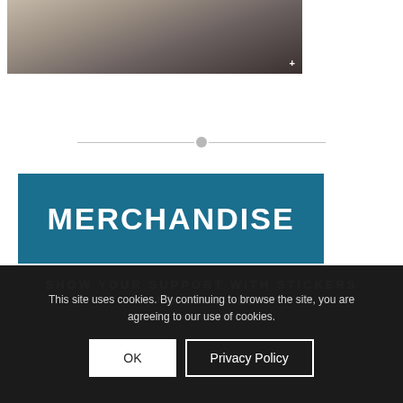[Figure (photo): Partial photo showing a room interior with a rug/knit item near a fireplace or TV stand, with a '+' icon in the bottom right corner of the image]
[Figure (other): Horizontal divider with a circle/dot in the center, acting as a section separator]
MERCHANDISE
SHOW YOUR SUPPORT WITH STICKERS AND APPAREL
This site uses cookies. By continuing to browse the site, you are agreeing to our use of cookies.
OK
Privacy Policy